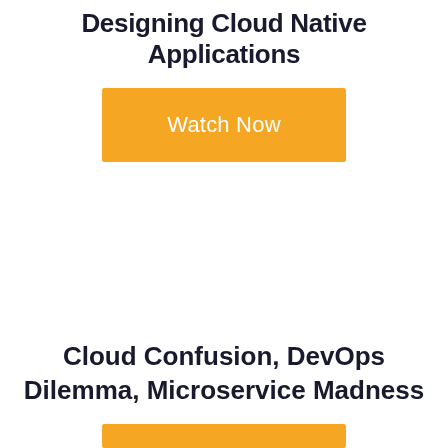Designing Cloud Native Applications
[Figure (other): Orange 'Watch Now' button]
Cloud Confusion, DevOps Dilemma, Microservice Madness
[Figure (other): Orange button partially visible at bottom]